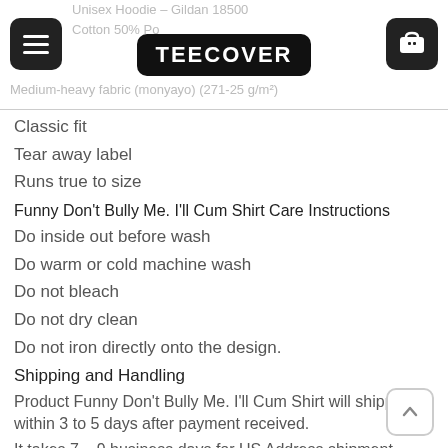Unisex Hoodie – Gildan 18500 | Cotton 50% Po... | Medium-heavy fabric (monyayo) (271-25 g/m²)
Classic fit
Tear away label
Runs true to size
Funny Don't Bully Me. I'll Cum Shirt Care Instructions
Do inside out before wash
Do warm or cold machine wash
Do not bleach
Do not dry clean
Do not iron directly onto the design.
Shipping and Handling
Product Funny Don't Bully Me. I'll Cum Shirt will shipped within 3 to 5 days after payment received.
It takes 7 – 9 business days for US Address shipment.
It takes 7 – 20 business days for Worldwide Address shipment.